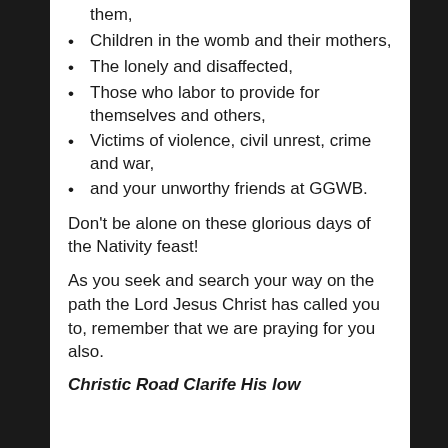them,
Children in the womb and their mothers,
The lonely and disaffected,
Those who labor to provide for themselves and others,
Victims of violence, civil unrest, crime and war,
and your unworthy friends at GGWB.
Don't be alone on these glorious days of the Nativity feast!
As you seek and search your way on the path the Lord Jesus Christ has called you to, remember that we are praying for you also.
Christic Road Clarife His low